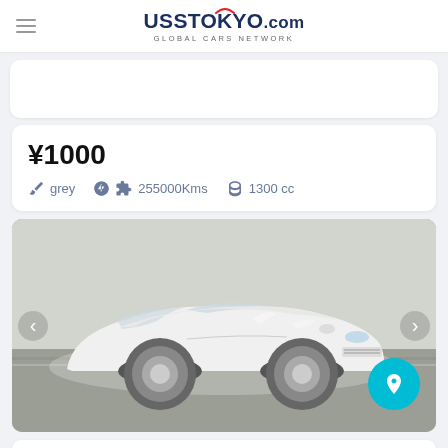UssTokyо.com GLOBAL CARS NETWORK
¥1000
grey  255000Kms  1300 cc
[Figure (photo): White Honda Insight hatchback photographed in a parking garage, front three-quarter view. Navigation arrows on left and right sides, cyan rocket/location button in lower right.]